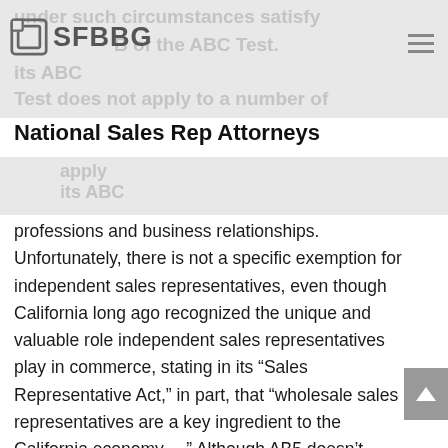SFBBG — National Sales Rep Attorneys
National Sales Rep Attorneys
professions and business relationships. Unfortunately, there is not a specific exemption for independent sales representatives, even though California long ago recognized the unique and valuable role independent sales representatives play in commerce, stating in its “Sales Representative Act,” in part, that “wholesale sales representatives are a key ingredient to the California economy….” Although AB5 doesn’t provide a specific exception for independent sales representatives, it does provide an exception to its ABC Test “to a bona fide